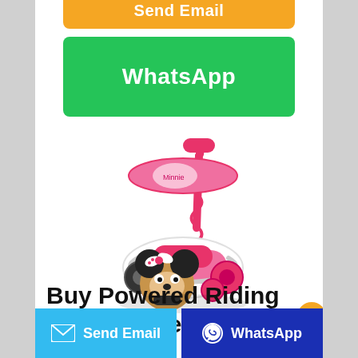[Figure (other): Orange 'Send Email' button partially cropped at top]
[Figure (other): Green 'WhatsApp' button]
[Figure (photo): Minnie Mouse ride-on push toy in pink with canopy and push handle]
Buy Powered Riding Toys Online at Overstock | Our
[Figure (other): Bottom bar with blue 'Send Email' button and dark blue 'WhatsApp' button]